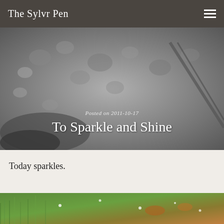The Sylvr Pen
[Figure (photo): Black and white close-up photo of water droplets on a surface with a wiper blade visible at the right edge. Overlaid text shows 'Posted on 2011-10-17' and the title 'To Sparkle and Shine'.]
Today sparkles.
[Figure (photo): Close-up color photo of green grass or foliage with sparkles/bokeh effect, partially visible at the bottom of the page.]